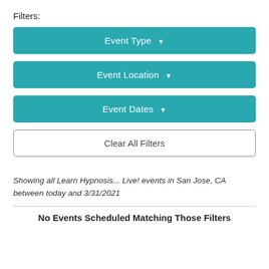Filters:
Event Type ▾
Event Location ▾
Event Dates ▾
Clear All Filters
Showing all Learn Hypnosis... Live! events in San Jose, CA between today and 3/31/2021
No Events Scheduled Matching Those Filters